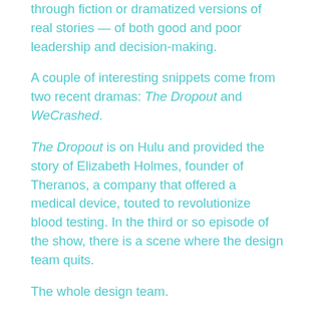through fiction or dramatized versions of real stories — of both good and poor leadership and decision-making.
A couple of interesting snippets come from two recent dramas: The Dropout and WeCrashed.
The Dropout is on Hulu and provided the story of Elizabeth Holmes, founder of Theranos, a company that offered a medical device, touted to revolutionize blood testing. In the third or so episode of the show, there is a scene where the design team quits.
The whole design team.
They leave some books (the main one is titled The No A**hole Rule: Building a Civilized Workplace